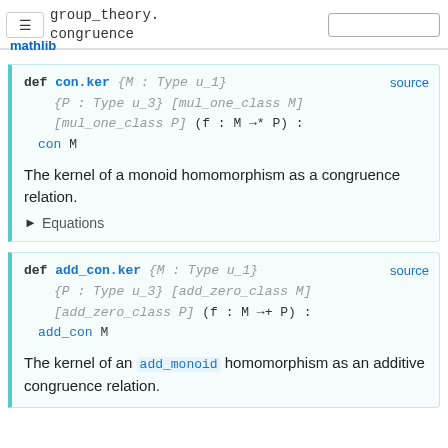group_theory.congruence — mathlib
def con.ker {M : Type u_1} {P : Type u_3} [mul_one_class M] [mul_one_class P] (f : M →* P) : con M — source
The kernel of a monoid homomorphism as a congruence relation.
▶ Equations
def add_con.ker {M : Type u_1} {P : Type u_3} [add_zero_class M] [add_zero_class P] (f : M →+ P) : add_con M — source
The kernel of an add_monoid homomorphism as an additive congruence relation.